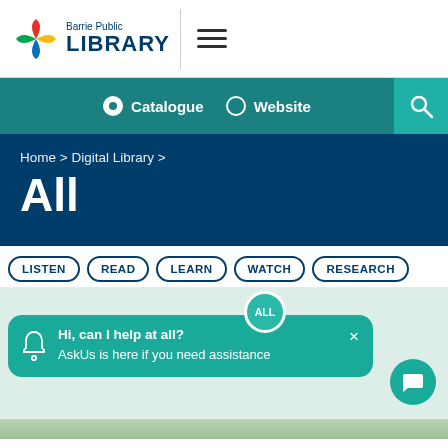Barrie Public LIBRARY
Catalogue  Website
Home > Digital Library >
All
LISTEN
READ
LEARN
WATCH
RESEARCH
Hi, can I help at all? AskUs is here if you need assistance